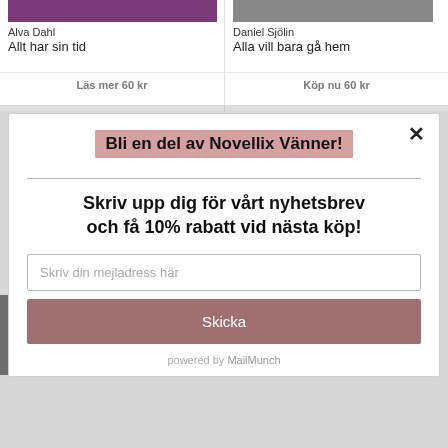[Figure (screenshot): Book card top-left: purple book cover image, author Alva Dahl, title Allt har sin tid, action Läs mer 60 kr]
[Figure (screenshot): Book card top-right: gray/dark book cover image, author Daniel Sjölin, title Alla vill bara gå hem, action Köp nu 60 kr]
Bli en del av Novellix Vänner!
Skriv upp dig för vårt nyhetsbrev och få 10% rabatt vid nästa köp!
Skriv din mejladress här
Skicka
powered by MailMunch